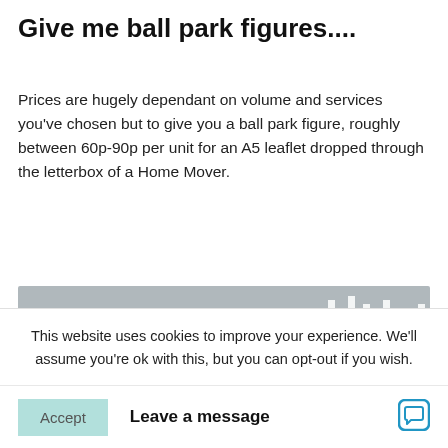Give me ball park figures....
Prices are hugely dependant on volume and services you've chosen but to give you a ball park figure, roughly between 60p-90p per unit for an A5 leaflet dropped through the letterbox of a Home Mover.
[Figure (screenshot): Banner with text 'Quick & Dirty Popular Counts' on a grey background with decorative bar chart icons on the right side.]
This website uses cookies to improve your experience. We'll assume you're ok with this, but you can opt-out if you wish.
Accept   Leave a message